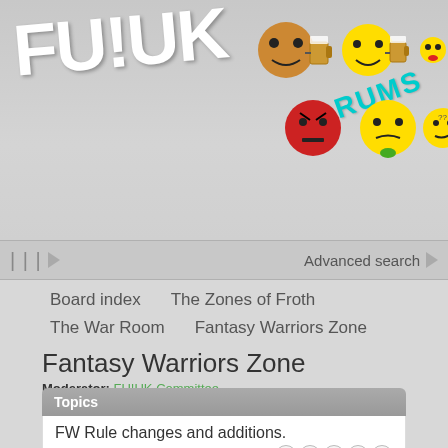[Figure (screenshot): FU!UK Forums website header with logo, emoji faces, and navigation]
Advanced search
Board index   The Zones of Froth
The War Room   Fantasy Warriors Zone
Fantasy Warriors Zone
Moderator: FU!UK Committee
Topics
FW Rule changes and additions.
by Duff » Fri Apr 28, 2006 11:29 pm